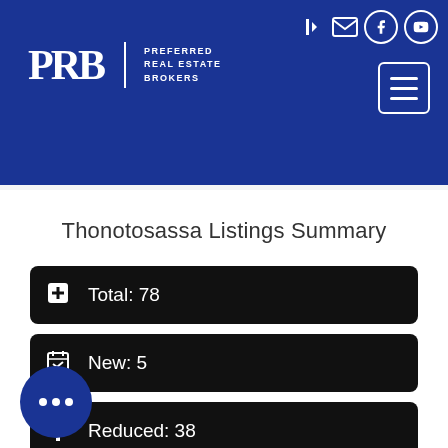[Figure (logo): PRB Preferred Real Estate Brokers logo on dark blue header with navigation icons and hamburger menu]
Thonotosassa Listings Summary
Total: 78
New: 5
Reduced: 38
Open House: 5